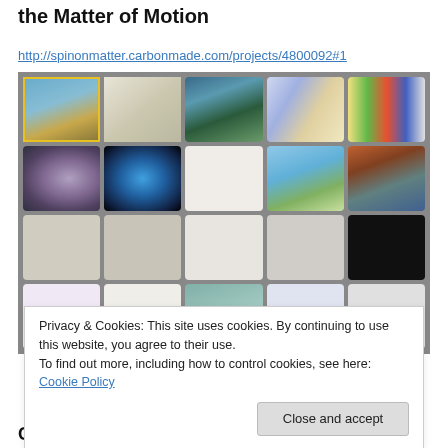the Matter of Motion
http://spinonmatter.carbonmade.com/projects/4800092#1
[Figure (screenshot): Gallery grid of approximately 20 thumbnail images arranged in 4 rows and 5 columns on a gray background, showing various scientific and artistic images including landscapes, magnetic fields, spirals, dolphins, sketches, and diagrams.]
Privacy & Cookies: This site uses cookies. By continuing to use this website, you agree to their use.
To find out more, including how to control cookies, see here: Cookie Policy
Close and accept
Climactic Breaks nomadbeatz